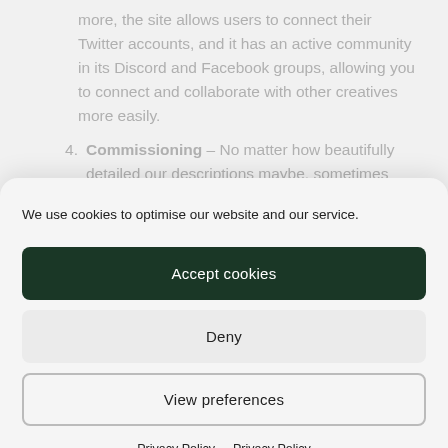more, the site allows users to connect their Twitter accounts, and it has an active community in its Discord and Facebook groups, allowing you to connect and collaborate with other creatives more easily.
4. Commissioning – No matter how beautifully detailed our descriptions maybe, sometimes
We use cookies to optimise our website and our service.
Accept cookies
Deny
View preferences
Privacy Policy  Privacy Policy